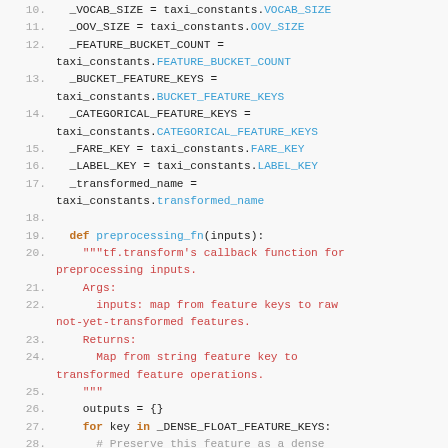[Figure (screenshot): Python source code snippet showing lines 10-29 of a TFX preprocessing module with syntax highlighting. Line numbers in gray on left, keywords in orange/brown, identifiers in cyan/blue, strings and docstrings in red/pink.]